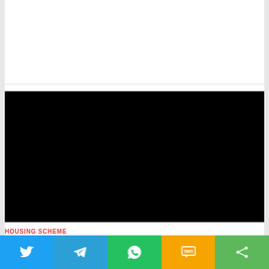[Figure (other): Black video embed placeholder rectangle]
HOUSING SCHEME
DDA Housing Scheme: डीडीएसए हाउस स्की मे, एक और कड
[Figure (other): Social share bar with Twitter, Telegram, WhatsApp, SMS, and share icons]